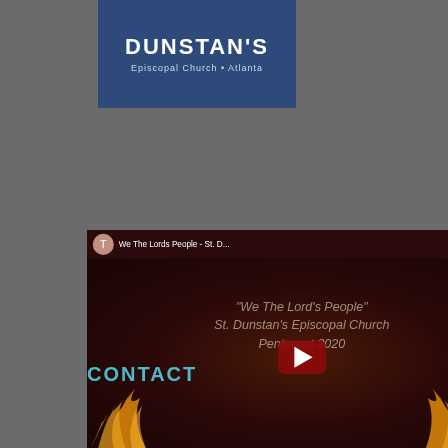[Figure (logo): St. Dunstan's Episcopal Church Atlanta logo on blue background]
[Figure (screenshot): YouTube video player showing 'We The Lords People - St. D...' with thumbnail of flames and text 'We The Lord's People / St. Dunstan's Episcopal Church / Pentecost 2020', time 00:00, duration 02:38]
CONTACT